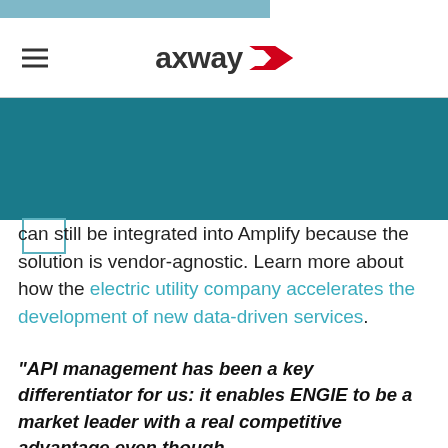[Figure (logo): Axway logo with red arrow/chevron icon and wordmark 'axway' in dark text]
can still be integrated into Amplify because the solution is vendor-agnostic. Learn more about how the electric utility company accelerates the development of new data-driven services.
“API management has been a key differentiator for us: it enables ENGIE to be a market leader with a real competitive advantage even though